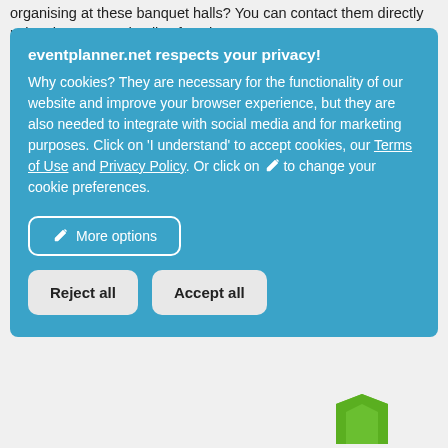organising at these banquet halls? You can contact them directly using the contact details of each venue.
eventplanner.net respects your privacy!
Why cookies? They are necessary for the functionality of our website and improve your browser experience, but they are also needed to integrate with social media and for marketing purposes. Click on 'I understand' to accept cookies, our Terms of Use and Privacy Policy. Or click on ✏ to change your cookie preferences.
More options
Reject all
Accept all